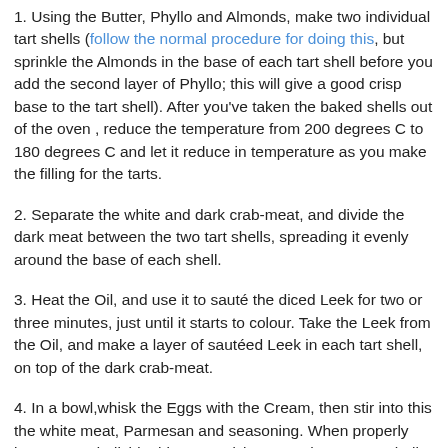1. Using the Butter, Phyllo and Almonds, make two individual tart shells (follow the normal procedure for doing this, but sprinkle the Almonds in the base of each tart shell before you add the second layer of Phyllo; this will give a good crisp base to the tart shell). After you've taken the baked shells out of the oven , reduce the temperature from 200 degrees C to 180 degrees C and let it reduce in temperature as you make the filling for the tarts.
2. Separate the white and dark crab-meat, and divide the dark meat between the two tart shells, spreading it evenly around the base of each shell.
3. Heat the Oil, and use it to sauté the diced Leek for two or three minutes, just until it starts to colour. Take the Leek from the Oil, and make a layer of sautéed Leek in each tart shell, on top of the dark crab-meat.
4. In a bowl,whisk the Eggs with the Cream, then stir into this the white meat, Parmesan and seasoning. When properly incorporated, divide this 'custard' between the two tart shells (any mixture you have left over, pour into a ramekin and